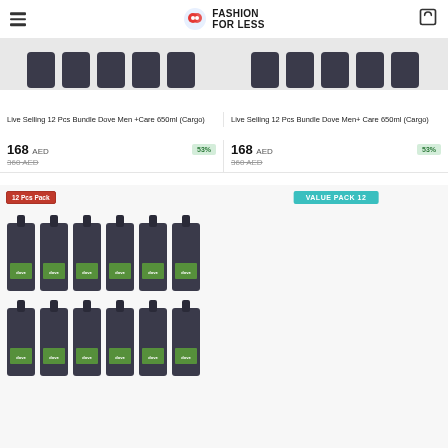Fashion For Less
[Figure (photo): Partial product image cut off at top - Dove Men+Care bottles]
[Figure (photo): Partial product image cut off at top - Dove Men+Care bottles]
Live Selling 12 Pcs Bundle Dove Men +Care 650ml (Cargo)
Live Selling 12 Pcs Bundle Dove Men+ Care 650ml (Cargo)
168 AED — 53% off — was 360 AED
168 AED — 53% off — was 360 AED
[Figure (photo): 12 Pcs Pack of Dove Men+Care 650ml dark grey pump bottles arranged in two rows]
[Figure (photo): Value Pack 12 of Dove white pump bottles arranged in three rows of four]
[Figure (photo): Partial bottom product card - cut off]
[Figure (photo): Partial bottom product card - cut off]